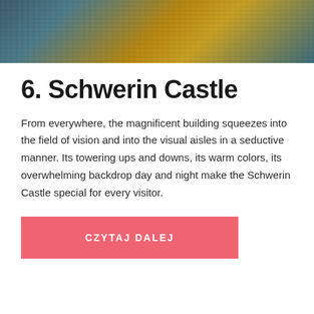[Figure (photo): Partial photo of water with reflections, showing water surface with golden and blue-green color reflections]
6. Schwerin Castle
From everywhere, the magnificent building squeezes into the field of vision and into the visual aisles in a seductive manner. Its towering ups and downs, its warm colors, its overwhelming backdrop day and night make the Schwerin Castle special for every visitor.
CZYTAJ DALEJ